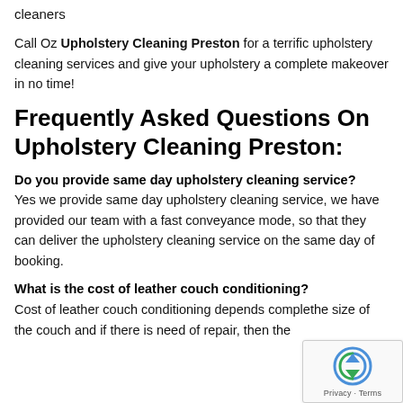cleaners
Call Oz Upholstery Cleaning Preston for a terrific upholstery cleaning services and give your upholstery a complete makeover in no time!
Frequently Asked Questions On Upholstery Cleaning Preston:
Do you provide same day upholstery cleaning service?
Yes we provide same day upholstery cleaning service, we have provided our team with a fast conveyance mode, so that they can deliver the upholstery cleaning service on the same day of booking.
What is the cost of leather couch conditioning?
Cost of leather couch conditioning depends comple... the size of the couch and if there is need of repair, then the